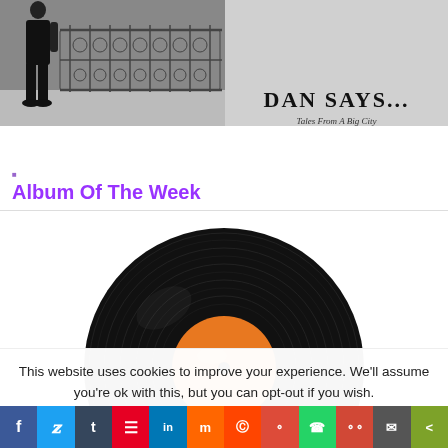[Figure (photo): Top banner with black and white photo of a person standing near ornate iron railing on the left, and a gray panel on the right with bold stylized text 'DAN SAYS...' and subtitle 'Tales From A Big City']
Album Of The Week
[Figure (illustration): Black vinyl record with orange label center, photographed from above on white background]
This website uses cookies to improve your experience. We'll assume you're ok with this, but you can opt-out if you wish.
[Figure (infographic): Social media sharing bar with icons for Facebook, Twitter, Tumblr, Pinterest, LinkedIn, Mix, Reddit, Google+, WhatsApp, MySpace, Email, and Share]